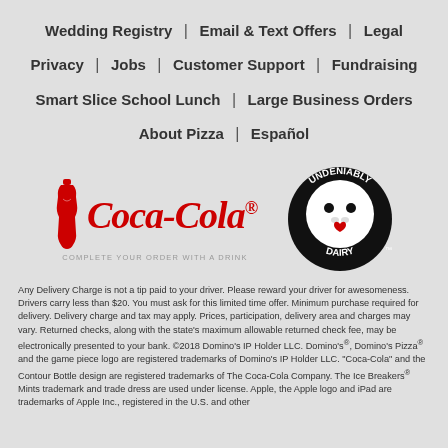Wedding Registry | Email & Text Offers | Legal | Privacy | Jobs | Customer Support | Fundraising | Smart Slice School Lunch | Large Business Orders | About Pizza | Español
[Figure (logo): Coca-Cola logo with bottle and text 'COMPLETE YOUR ORDER WITH A DRINK']
[Figure (logo): Undeniably Dairy circular logo with cow face]
Any Delivery Charge is not a tip paid to your driver. Please reward your driver for awesomeness. Drivers carry less than $20. You must ask for this limited time offer. Minimum purchase required for delivery. Delivery charge and tax may apply. Prices, participation, delivery area and charges may vary. Returned checks, along with the state's maximum allowable returned check fee, may be electronically presented to your bank. ©2018 Domino's IP Holder LLC. Domino's®, Domino's Pizza® and the game piece logo are registered trademarks of Domino's IP Holder LLC. "Coca-Cola" and the Contour Bottle design are registered trademarks of The Coca-Cola Company. The Ice Breakers® Mints trademark and trade dress are used under license. Apple, the Apple logo and iPad are trademarks of Apple Inc., registered in the U.S. and other